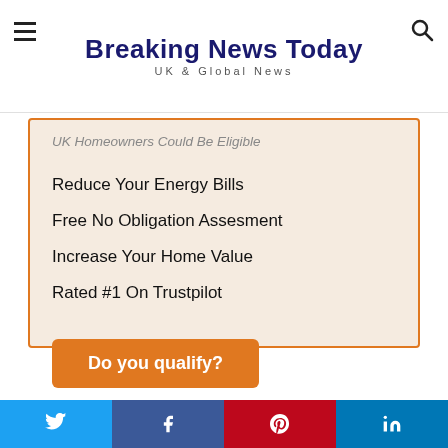Breaking News Today
UK & Global News
UK Homeowners Could Be Eligible
Reduce Your Energy Bills
Free No Obligation Assesment
Increase Your Home Value
Rated #1 On Trustpilot
Do you qualify?
Twitter | Facebook | Pinterest | LinkedIn